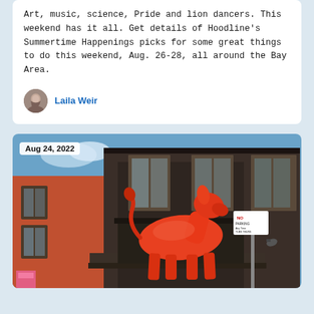Art, music, science, Pride and lion dancers. This weekend has it all. Get details of Hoodline's Summertime Happenings picks for some great things to do this weekend, Aug. 26-28, all around the Bay Area.
Laila Weir
Aug 24, 2022
[Figure (photo): A red/orange painted cow sculpture standing on a building ledge in front of a Victorian-style building with dark window frames in San Francisco.]